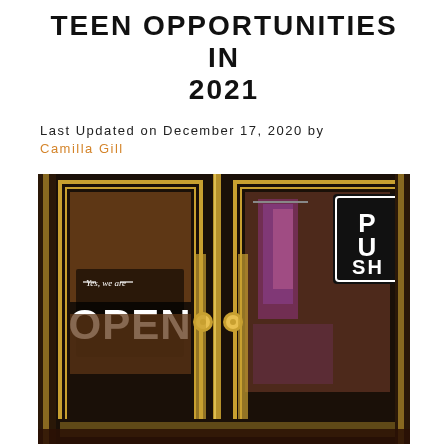TEEN OPPORTUNITIES IN 2021
Last Updated on December 17, 2020 by Camilla Gill
[Figure (photo): Storefront entrance with ornate black and gold doors, a 'Yes, we are OPEN' sign visible on the glass door, clothing visible inside, and a 'PUSH' sign on the right door panel. Warm orange bokeh lights visible through the window.]